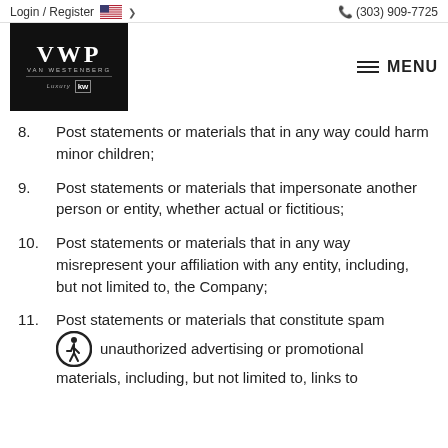Login / Register  (303) 909-7725  MENU
8. Post statements or materials that in any way could harm minor children;
9. Post statements or materials that impersonate another person or entity, whether actual or fictitious;
10. Post statements or materials that in any way misrepresent your affiliation with any entity, including, but not limited to, the Company;
11. Post statements or materials that constitute spam unauthorized advertising or promotional materials, including, but not limited to, links to